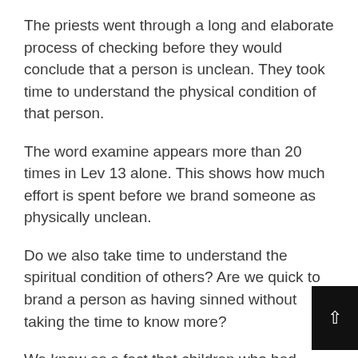The priests went through a long and elaborate process of checking before they would conclude that a person is unclean. They took time to understand the physical condition of that person.
The word examine appears more than 20 times in Lev 13 alone. This shows how much effort is spent before we brand someone as physically unclean.
Do we also take time to understand the spiritual condition of others? Are we quick to brand a person as having sinned without taking the time to know more?
We know as a fact that children who had been physically abused grow up to abuse others as well. A person who has been betrayed